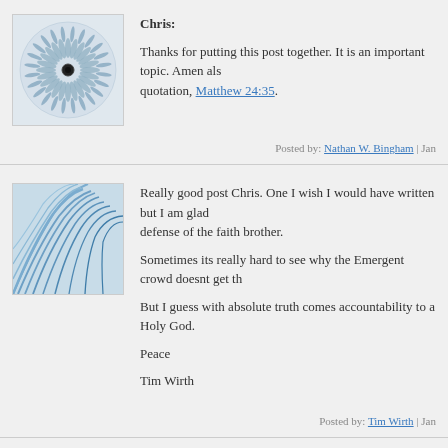[Figure (illustration): Avatar image with circular geometric spiral pattern on grey background]
Chris:

Thanks for putting this post together. It is an important topic. Amen also to the quotation, Matthew 24:35.
Posted by: Nathan W. Bingham | Jan
[Figure (illustration): Avatar image with blue wave/fan geometric pattern on white background]
Really good post Chris. One I wish I would have written but I am glad you did. Great defense of the faith brother.

Sometimes its really hard to see why the Emergent crowd doesnt get th

But I guess with absolute truth comes accountability to a Holy God.

Peace

Tim Wirth
Posted by: Tim Wirth | Jan
[Figure (illustration): Avatar image with blue geometric star/snowflake pattern on light background]
Chris,